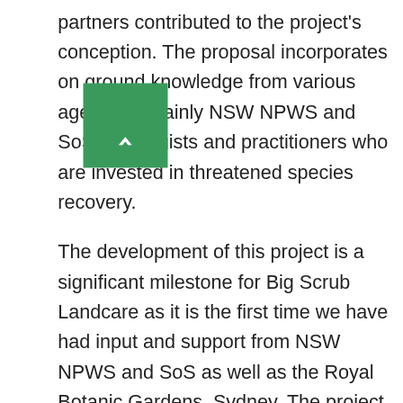partners contributed to the project's conception. The proposal incorporates on ground knowledge from various agencies (mainly NSW NPWS and SoS), ecologists and practitioners who are invested in threatened species recovery.
The development of this project is a significant milestone for Big Scrub Landcare as it is the first time we have had input and support from NSW NPWS and SoS as well as the Royal Botanic Gardens, Sydney. The project aims to contribute to informing future fire planning, strategic conservation management and helping to ensure the survival of rainforest communities and their threatened species. If this proposal is successful, Big Scrub Landcare look forward to continuing this partnership and working closely with these agencies to ensure the project delivers valuable